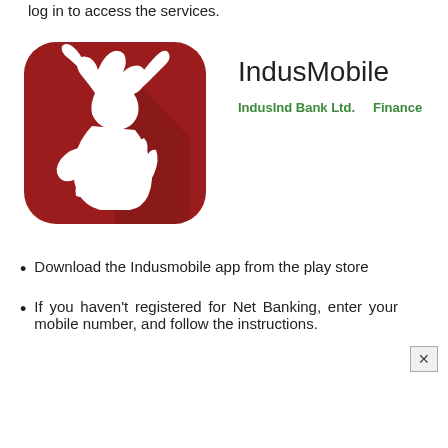log in to access the services.
[Figure (logo): IndusMobile app logo: red rounded square with white bull/fire silhouette. App name: IndusMobile. Developer: IndusInd Bank Ltd. Category: Finance.]
Download the Indusmobile app from the play store
If you haven't registered for Net Banking, enter your mobile number, and follow the instructions.